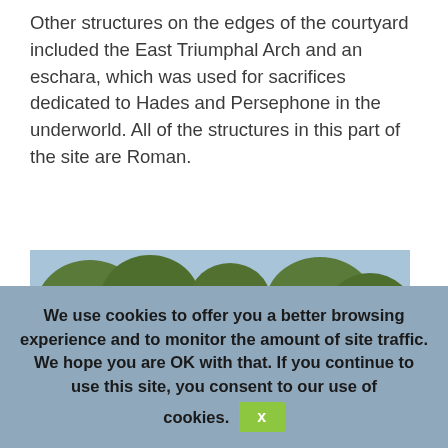Other structures on the edges of the courtyard included the East Triumphal Arch and an eschara, which was used for sacrifices dedicated to Hades and Persephone in the underworld. All of the structures in this part of the site are Roman.
[Figure (photo): Photograph of ancient Roman stone ruins, showing carved architectural elements including a decorative cornice/entablature resting on column capitals, with steps and trees visible in the background.]
We use cookies to offer you a better browsing experience and to monitor the amount of site traffic. We hope you are OK with that. If you continue to use this site, you consent to our use of cookies. X